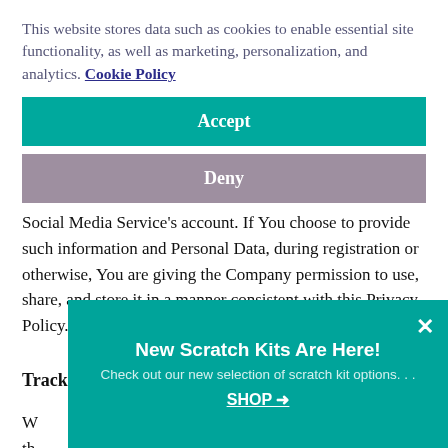This website stores data such as cookies to enable essential site functionality, as well as marketing, personalization, and analytics. Cookie Policy
Accept
Deny
Social Media Service’s account. If You choose to provide such information and Personal Data, during registration or otherwise, You are giving the Company permission to use, share, and store it in a manner consistent with this Privacy Policy.
Tracking Technologies and Cookies
W... th... T...
[Figure (other): Promotional banner: New Scratch Kits Are Here! Check out our new selection of scratch kit options... SHOP →]